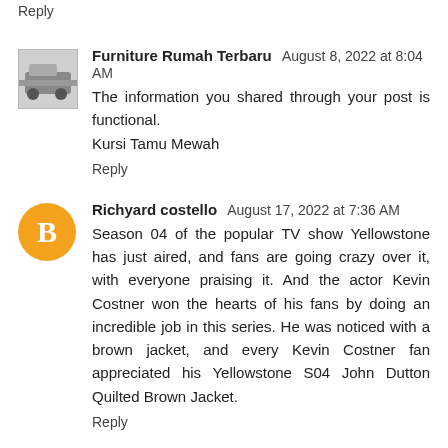Reply
Furniture Rumah Terbaru  August 8, 2022 at 8:04 AM
The information you shared through your post is functional.
Kursi Tamu Mewah
Reply
Richyard costello  August 17, 2022 at 7:36 AM
Season 04 of the popular TV show Yellowstone has just aired, and fans are going crazy over it, with everyone praising it. And the actor Kevin Costner won the hearts of his fans by doing an incredible job in this series. He was noticed with a brown jacket, and every Kevin Costner fan appreciated his Yellowstone S04 John Dutton Quilted Brown Jacket.
Reply
​​​​​​​​​​​​​  August 19, 2022 at 8:35 AM